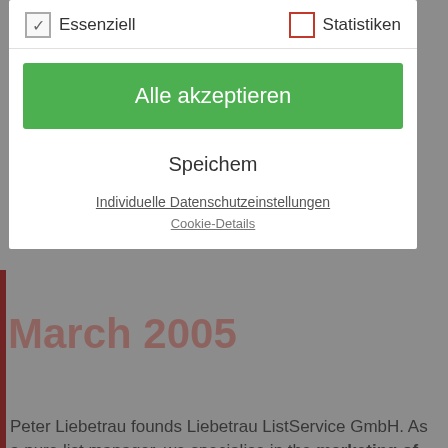[Figure (screenshot): Cookie consent modal dialog overlaying a webpage with German-language options. Checkboxes for 'Essenziell' (checked) and 'Statistiken' (unchecked with red border). Green 'Alle akzeptieren' button, 'Speichern' text button, and links for 'Individuelle Datenschutzeinstellungen' and 'Cookie-Details'. Behind the modal: 'March 2005' heading in red, body text about Peter Liebetrau founding Liebetrau ListService GmbH.]
Peter Liebetrau founds Liebetrau ListService GmbH. As a pure list manager, we specialise in the marketing of mailing lists. Lars Mühlschlegel is an employee since the very beginning. We take up premises in Leostrasse in Cologne-Ehrenfeld.